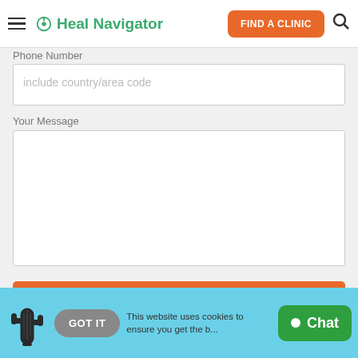Heal Navigator — FIND A CLINIC
Phone Number
include country/area code
Your Message
Contact the Clinic Now
Vi
GOT IT   This website uses cookies to ensure you get the best experience.
Chat